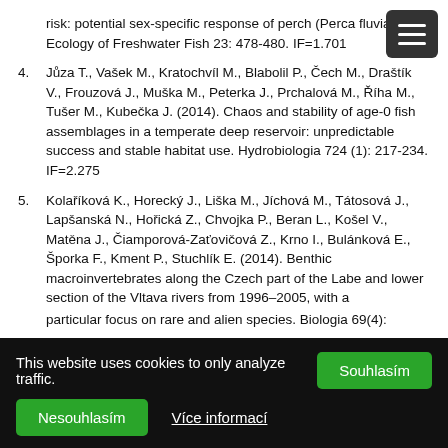risk: potential sex-specific response of perch (Perca fluviatilis). Ecology of Freshwater Fish 23: 478-480. IF=1.701
4. Jůza T., Vašek M., Kratochvíl M., Blabolil P., Čech M., Draštík V., Frouzová J., Muška M., Peterka J., Prchalová M., Říha M., Tušer M., Kubečka J. (2014). Chaos and stability of age-0 fish assemblages in a temperate deep reservoir: unpredictable success and stable habitat use. Hydrobiologia 724 (1): 217-234. IF=2.275
5. Kolaříková K., Horecký J., Liška M., Jíchová M., Tátosová J., Lapšanská N., Hořická Z., Chvojka P., Beran L., Košel V., Matěna J., Čiamporová-Zaťovičová Z., Krno I., Bulánková E., Šporka F., Kment P., Stuchlík E. (2014). Benthic macroinvertebrates along the Czech part of the Labe and lower section of the Vltava rivers from 1996–2005, with a particular focus on rare and alien species. Biologia 69(4):
This website uses cookies to only analyze traffic.